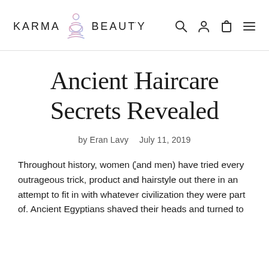[Figure (logo): Karma Beauty logo with meditating figure icon between the words KARMA and BEAUTY, plus navigation icons (search, account, cart, menu) on the right]
Ancient Haircare Secrets Revealed
by Eran Lavy   July 11, 2019
Throughout history, women (and men) have tried every outrageous trick, product and hairstyle out there in an attempt to fit in with whatever civilization they were part of. Ancient Egyptians shaved their heads and turned to